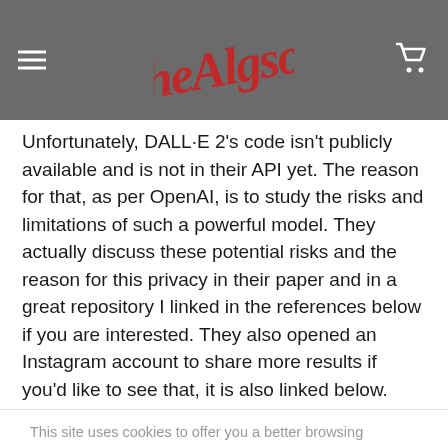[Figure (logo): Website header with hamburger menu icon on left, stylized cursive red logo in center, and shopping cart icon on right, all on dark gray background]
Unfortunately, DALL·E 2's code isn't publicly available and is not in their API yet. The reason for that, as per OpenAI, is to study the risks and limitations of such a powerful model. They actually discuss these potential risks and the reason for this privacy in their paper and in a great repository I linked in the references below if you are interested. They also opened an Instagram account to share more results if you'd like to see that, it is also linked below.
This site uses cookies to offer you a better browsing experience. By browsing this website, you agree to our use of cookies.
More info    Accept